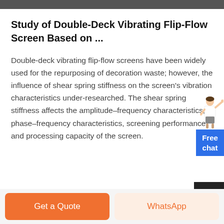Study of Double-Deck Vibrating Flip-Flow Screen Based on ...
Double-deck vibrating flip-flow screens have been widely used for the repurposing of decoration waste; however, the influence of shear spring stiffness on the screen’s vibration characteristics under-researched. The shear spring stiffness affects the amplitude–frequency characteristics, phase–frequency characteristics, screening performance and processing capacity of the screen.
[Figure (illustration): Customer service representative illustration with 'Free chat' blue button widget on the right side]
Get a Quote | WhatsApp